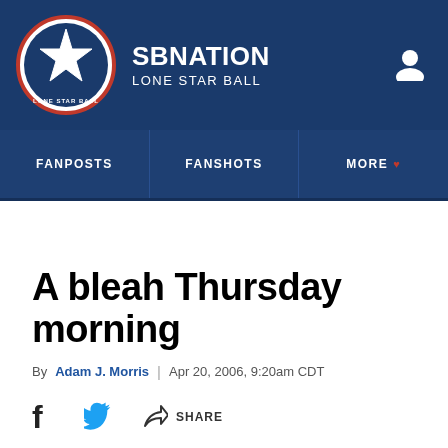SBNATION LONE STAR BALL
FANPOSTS | FANSHOTS | MORE
A bleah Thursday morning
By Adam J. Morris | Apr 20, 2006, 9:20am CDT
SHARE